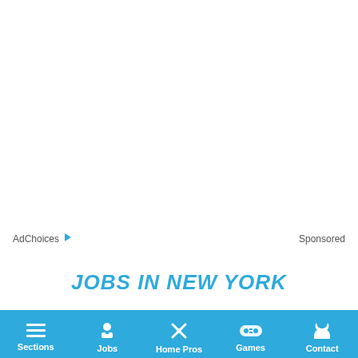AdChoices ▷    Sponsored
JOBS IN NEW YORK
Sections  Jobs  Home Pros  Games  Contact